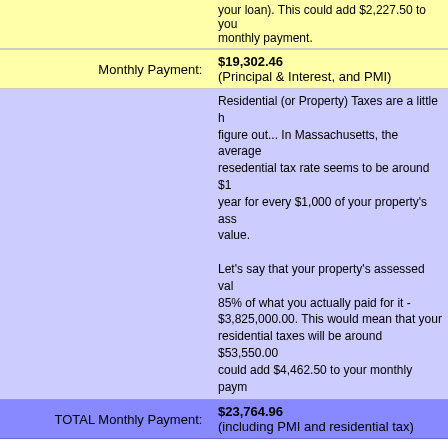your loan). This could add $2,227.50 to your monthly payment.
Monthly Payment: $19,302.46 (Principal & Interest, and PMI)
Residential (or Property) Taxes are a little harder to figure out... In Massachusetts, the average resedential tax rate seems to be around $1 per year for every $1,000 of your property's assessed value. Let's say that your property's assessed value is 85% of what you actually paid for it - $3,825,000.00. This would mean that your residential taxes will be around $53,550.00, and could add $4,462.50 to your monthly payment.
TOTAL Monthly Payment: $23,764.96 (including PMI and residential tax)
Amortization For Monthly Payment: $17,074.96 over 30 years
| Month | Interest Paid | Principal Paid | Remaing Balance |
| --- | --- | --- | --- |
| 1 | $10,125.00 | $6,949.96 | $4,043,050.04 |
| 2 | $10,107.63 | $6,967.34 | $4,036,082.70 |
| 3 | $10,090.21 | $6,984.76 | $4,029,097.94 |